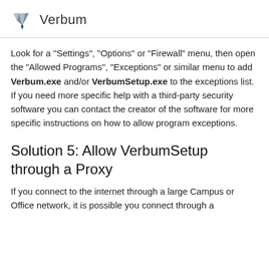Verbum
Look for a "Settings", "Options" or "Firewall" menu, then open the "Allowed Programs", "Exceptions" or similar menu to add Verbum.exe and/or VerbumSetup.exe to the exceptions list. If you need more specific help with a third-party security software you can contact the creator of the software for more specific instructions on how to allow program exceptions.
Solution 5: Allow VerbumSetup through a Proxy
If you connect to the internet through a large Campus or Office network, it is possible you connect through a